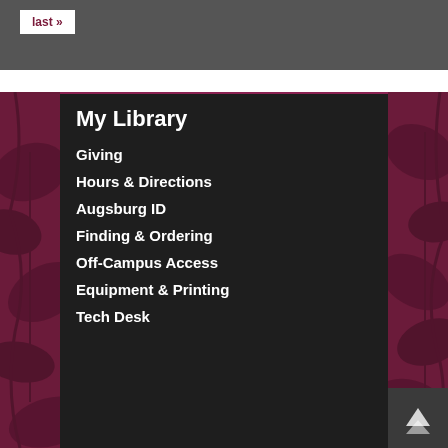last »
My Library
Giving
Hours & Directions
Augsburg ID
Finding & Ordering
Off-Campus Access
Equipment & Printing
Tech Desk